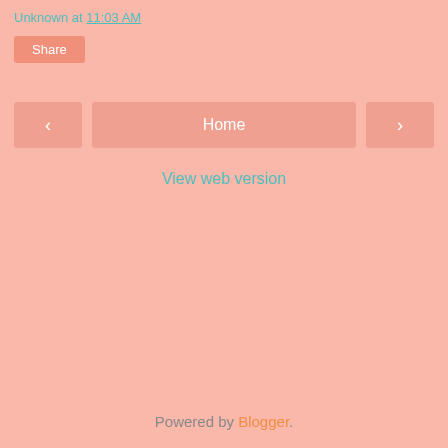Unknown at 11:03 AM
Share
< Home >
View web version
Powered by Blogger.